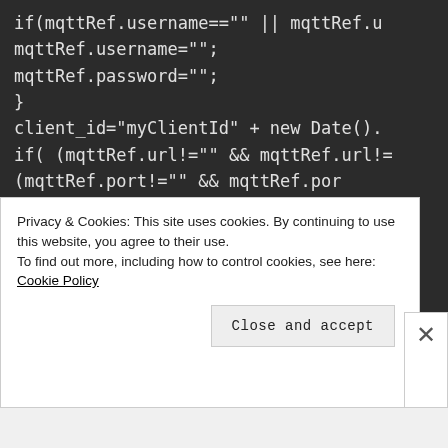[Figure (screenshot): Dark-themed code editor screenshot showing JavaScript/Angular code with MQTT reference handling. Code includes if statements checking mqttRef.username and password, client_id assignment, conditional checks for mqttRef.url and port, and fireBaseData.refMqtt().child() call with url, port, username, password properties.]
Privacy & Cookies: This site uses cookies. By continuing to use this website, you agree to their use.
To find out more, including how to control cookies, see here: Cookie Policy
Close and accept